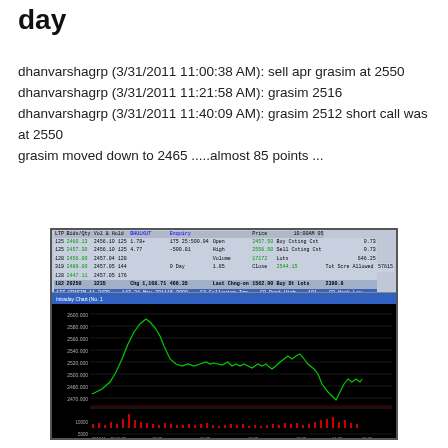day
dhanvarshagrp (3/31/2011 11:00:38 AM): sell apr grasim at 2550
dhanvarshagrp (3/31/2011 11:21:58 AM): grasim 2516
dhanvarshagrp (3/31/2011 11:40:09 AM): grasim 2512 short call was at 2550
grasim moved down to 2465 .....almost 85 points ...
[Figure (screenshot): Intraday chart screenshot showing Grasim stock price movement on 3/31/2011, with a candlestick/line chart showing price rising to peak around 2550 then falling to around 2465, with volume bars at the bottom. Also shows a data table at the top with stock quote information.]